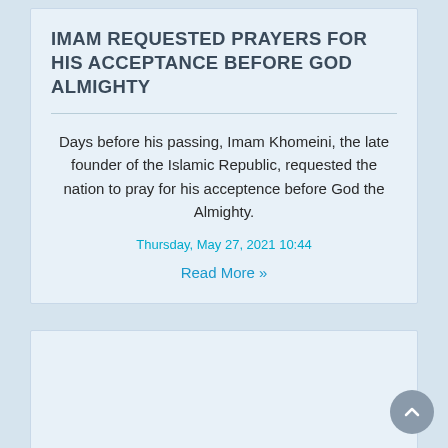IMAM REQUESTED PRAYERS FOR HIS ACCEPTANCE BEFORE GOD ALMIGHTY
Days before his passing, Imam Khomeini, the late founder of the Islamic Republic, requested the nation to pray for his acceptence before God the Almighty.
Thursday, May 27, 2021 10:44
Read More »